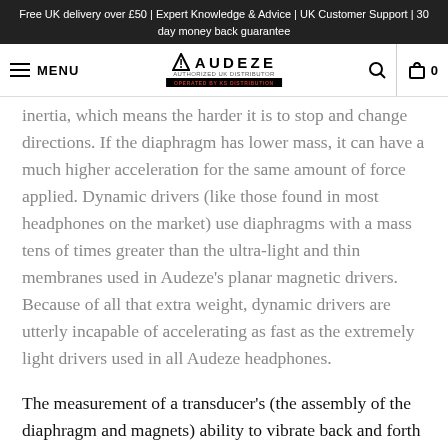Free UK delivery over £50 | Expert Knowledge & Advice | UK Customer Support | 30 day money back guarantee
MENU | AUDEZE Authorized UK Distributor Operated by KS Distribution | Search | Cart 0
inertia, which means the harder it is to stop and change directions. If the diaphragm has lower mass, it can have a much higher acceleration for the same amount of force applied. Dynamic drivers (like those found in most headphones on the market) use diaphragms with a mass tens of times greater than the ultra-light and thin membranes used in Audeze's planar magnetic drivers. Because of all that extra weight, dynamic drivers are utterly incapable of accelerating as fast as the extremely light drivers used in all Audeze headphones.
The measurement of a transducer's (the assembly of the diaphragm and magnets) ability to vibrate back and forth accurately is called its transient response. A transient is an abrupt change in signal, and is also called an impulse response. If you place a theoretically perfect microphone next to a headphone transducer with theoretically perfect